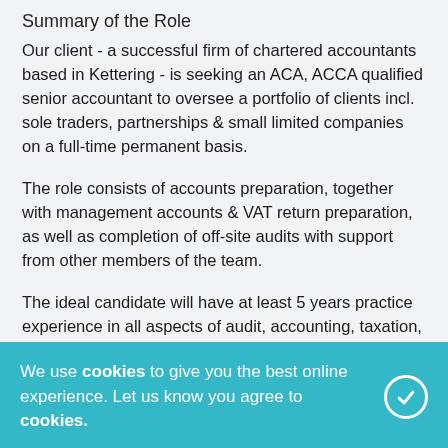Summary of the Role
Our client - a successful firm of chartered accountants based in Kettering - is seeking an ACA, ACCA qualified senior accountant to oversee a portfolio of clients incl. sole traders, partnerships & small limited companies on a full-time permanent basis.
The role consists of accounts preparation, together with management accounts & VAT return preparation, as well as completion of off-site audits with support from other members of the team.
The ideal candidate will have at least 5 years practice experience in all aspects of audit, accounting, taxation, management information & statutory compliance.
Candidates should ideally have experience of accounts preparation, tax, audits, gained in a small-to-medium-to large sized firm of Chartered or Certified accountants.
We use cookies to give you the best online experience. Let us know you agree to cookies.